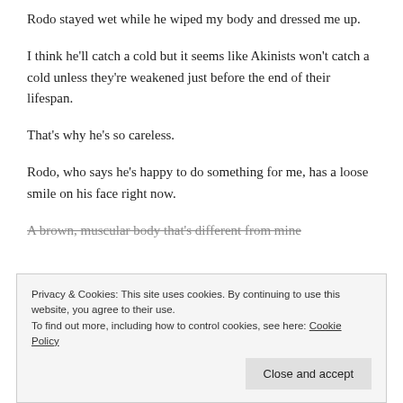Rodo stayed wet while he wiped my body and dressed me up.
I think he'll catch a cold but it seems like Akinists won't catch a cold unless they're weakened just before the end of their lifespan.
That's why he's so careless.
Rodo, who says he's happy to do something for me, has a loose smile on his face right now.
A brown, muscular body that's different from mine
Privacy & Cookies: This site uses cookies. By continuing to use this website, you agree to their use.
To find out more, including how to control cookies, see here: Cookie Policy